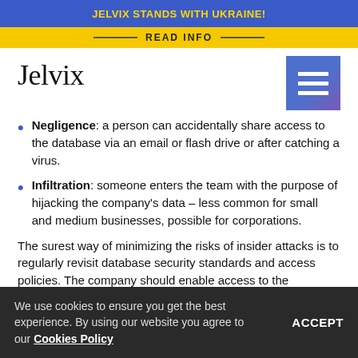JELVIX STANDS WITH UKRAINE!
READ INFO
[Figure (logo): Jelvix company logo with hamburger menu icon]
Negligence: a person can accidentally share access to the database via an email or flash drive or after catching a virus.
Infiltration: someone enters the team with the purpose of hijacking the company's data – less common for small and medium businesses, possible for corporations.
The surest way of minimizing the risks of insider attacks is to regularly revisit database security standards and access policies. The company should enable access to the database
We use cookies to ensure you get the best experience. By using our website you agree to our Cookies Policy ACCEPT